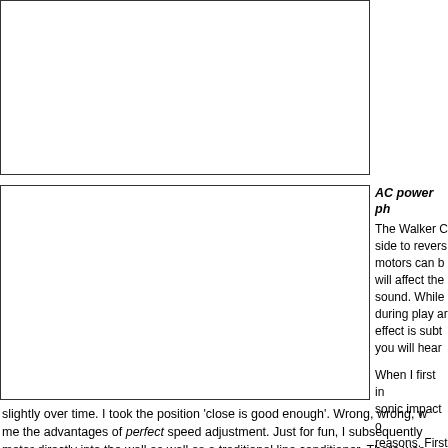[Figure (photo): Top image box - photograph or illustration, content clipped]
[Figure (photo): Bottom-left image box - photograph or illustration, content clipped]
AC power ph
The Walker C side to revers motors can b will affect the sound. While during play ar effect is subt you will hear
When I first in sonic impact o reasons. First absolute exac leave it, being
slightly over time. I took the position 'close is good enough'. Wrong, wrong, w me the advantages of perfect speed adjustment. Just for fun, I subsequently motor directly into the wall as well as a traditional line conditioner. There was lost the magic. Spend two or three minutes to get the speed exactly right and stability, solidity of soundstaging and vocal lock. This thing is amazingly stab